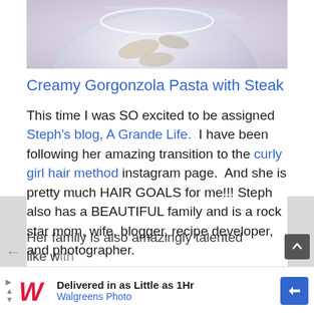[Figure (photo): Partial view of a glass bowl containing food ingredients, photographed from above on a light purple/grey background]
Creamy Gorgonzola Pasta with Steak
This time I was SO excited to be assigned Steph's blog, A Grande Life.  I have been following her amazing transition to the curly girl hair method instagram page.  And she is pretty much HAIR GOALS for me!!! Steph also has a BEAUTIFUL family and is a rock star mom, wife, blogger, recipe developer, and photographer.
Her family is also amazingly talented like...
[Figure (screenshot): Walgreens Photo advertisement banner: Delivered in as Little as 1 Hr, Walgreens Photo]